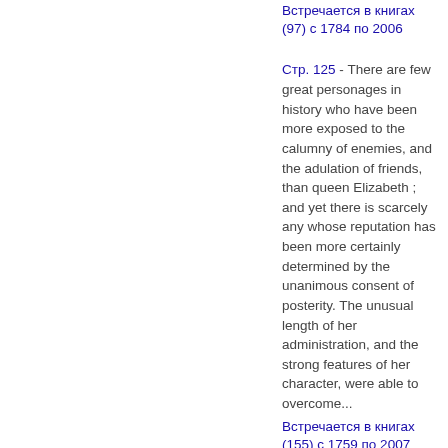Встречается в книгах (97) с 1784 по 2006
Стр. 125 - There are few great personages in history who have been more exposed to the calumny of enemies, and the adulation of friends, than queen Elizabeth ; and yet there is scarcely any whose reputation has been more certainly determined by the unanimous consent of posterity. The unusual length of her administration, and the strong features of her character, were able to overcome...
Встречается в книгах (155) с 1759 по 2007